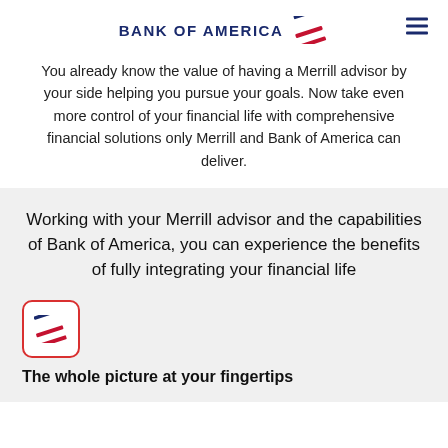BANK OF AMERICA
You already know the value of having a Merrill advisor by your side helping you pursue your goals. Now take even more control of your financial life with comprehensive financial solutions only Merrill and Bank of America can deliver.
Working with your Merrill advisor and the capabilities of Bank of America, you can experience the benefits of fully integrating your financial life
[Figure (logo): Merrill / Bank of America icon — red rounded square with stripe logo]
The whole picture at your fingertips